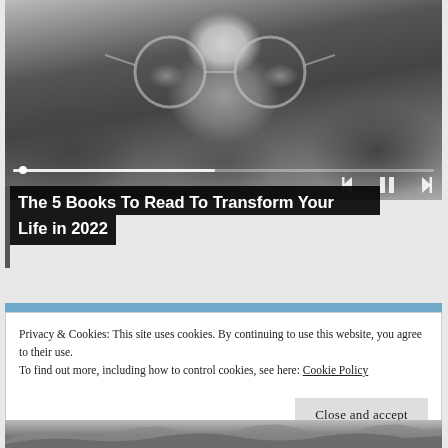[Figure (photo): Black and white close-up photo of a man with long hair, beard, and round glasses, with audio player controls (skip back, pause, skip forward) and a progress bar overlaid at the bottom]
The 5 Books To Read To Transform Your Life in 2022
Privacy & Cookies: This site uses cookies. By continuing to use this website, you agree to their use.
To find out more, including how to control cookies, see here: Cookie Policy
[Figure (photo): Partial landscape photo visible at bottom of page, showing snowy or rocky terrain]